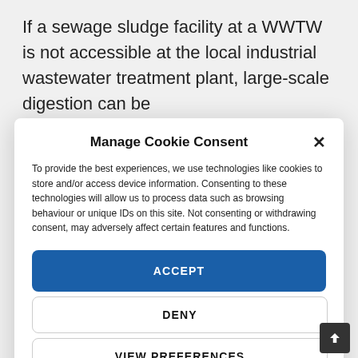If a sewage sludge facility at a WWTW is not accessible at the local industrial wastewater treatment plant, large-scale digestion can be
Manage Cookie Consent
To provide the best experiences, we use technologies like cookies to store and/or access device information. Consenting to these technologies will allow us to process data such as browsing behaviour or unique IDs on this site. Not consenting or withdrawing consent, may adversely affect certain features and functions.
ACCEPT
DENY
VIEW PREFERENCES
Cookie Policy  Privacy Statement